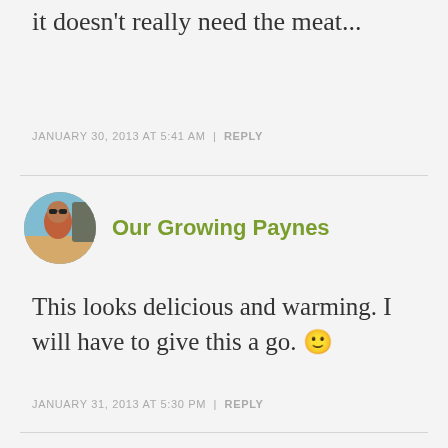it doesn't really need the meat...
JANUARY 30, 2013 AT 5:41 AM | REPLY
Our Growing Paynes
This looks delicious and warming. I will have to give this a go. 🙂
JANUARY 31, 2013 AT 5:30 PM | REPLY